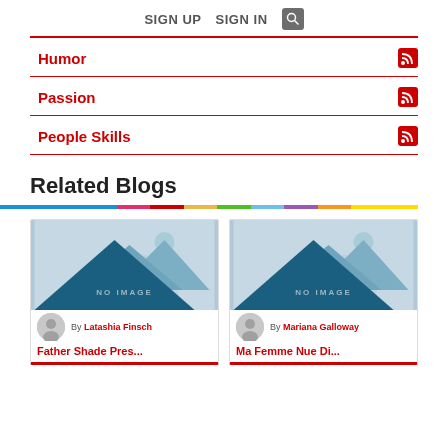SIGN UP  SIGN IN  [search]
Humor
Passion
People Skills
Related Blogs
[Figure (illustration): Blog card with mountain landscape placeholder image, author avatar, By Latashia Finsch, and truncated title starting 'Father Shade Pres...']
[Figure (illustration): Blog card with mountain landscape placeholder image, author avatar, By Mariana Galloway, and truncated title starting 'Ma Femme Nue Di...']